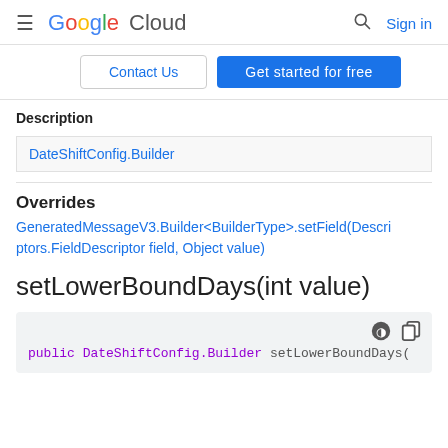Google Cloud   Sign in
Contact Us   Get started for free
Description
| Description |
| --- |
| DateShiftConfig.Builder |
Overrides
GeneratedMessageV3.Builder<BuilderType>.setField(Descriptors.FieldDescriptor field, Object value)
setLowerBoundDays(int value)
public DateShiftConfig.Builder setLowerBoundDays(